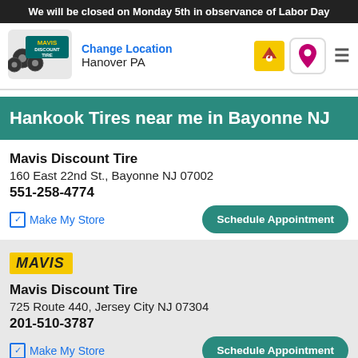We will be closed on Monday 5th in observance of Labor Day
[Figure (logo): Mavis Discount Tire logo with tires graphic]
Change Location
Hanover PA
Hankook Tires near me in Bayonne NJ
Mavis Discount Tire
160 East 22nd St., Bayonne NJ 07002
551-258-4774
Make My Store    Schedule Appointment
[Figure (logo): MAVIS yellow italic logo badge]
Mavis Discount Tire
725 Route 440, Jersey City NJ 07304
201-510-3787
Make My Store    Schedule Appointment
Call Store